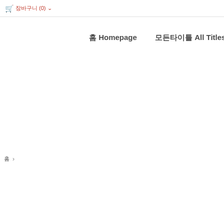장바구니 (0)
홈 Homepage
모든타이틀 All Titles
홈 >